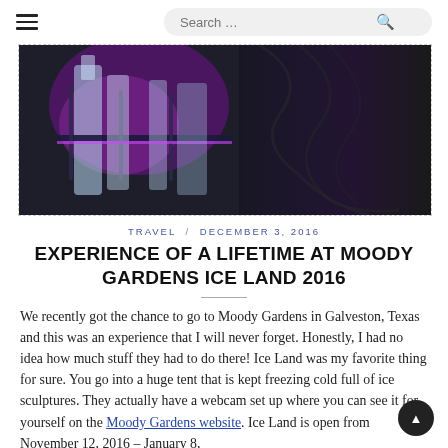☰ / Search ...
[Figure (photo): Hero image showing ice sculptures with purple/pink lighting against a dark background, partially visible, top portion of an ice land display at Moody Gardens.]
TRAVEL / DECEMBER 3, 2016
EXPERIENCE OF A LIFETIME AT MOODY GARDENS ICE LAND 2016
We recently got the chance to go to Moody Gardens in Galveston, Texas and this was an experience that I will never forget. Honestly, I had no idea how much stuff they had to do there! Ice Land was my favorite thing for sure. You go into a huge tent that is kept freezing cold full of ice sculptures. They actually have a webcam set up where you can see it for yourself on the Moody Gardens website. Ice Land is open from November 12, 2016 – January 8,